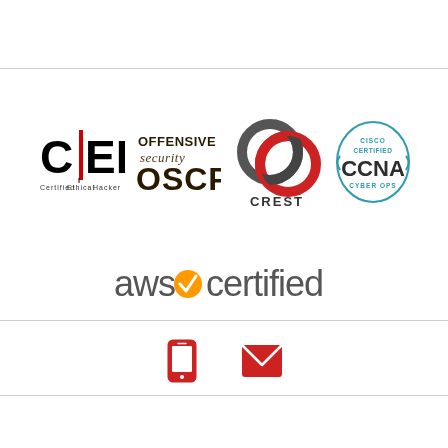[Figure (logo): CEH Certified Ethical Hacker logo]
[Figure (logo): Offensive Security OSCP logo]
[Figure (logo): CREST logo]
[Figure (logo): Cisco Certified CCNA Cyber Ops logo]
[Figure (logo): AWS Certified logo]
[Figure (illustration): Red mobile phone icon and red envelope/email icon]
[Figure (illustration): Red envelope/email icon]